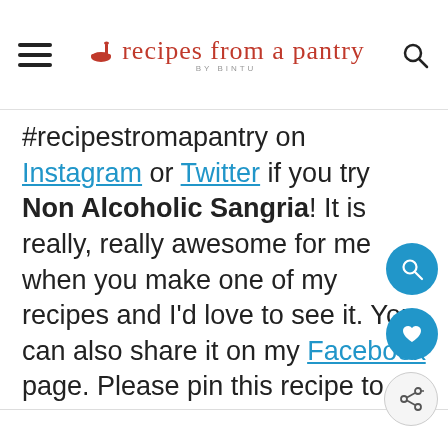recipes from a pantry BY BINTU
#recipestromapantry on Instagram or Twitter if you try Non Alcoholic Sangria! It is really, really awesome for me when you make one of my recipes and I'd love to see it. You can also share it on my Facebook page. Please pin this recipe to Pinterest too! Thank you for reading Recipes from a Pantry.